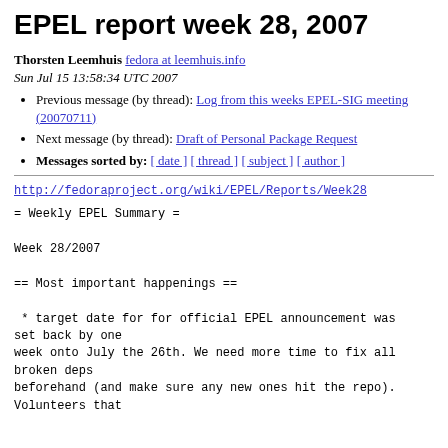EPEL report week 28, 2007
Thorsten Leemhuis fedora at leemhuis.info
Sun Jul 15 13:58:34 UTC 2007
Previous message (by thread): Log from this weeks EPEL-SIG meeting (20070711)
Next message (by thread): Draft of Personal Package Request
Messages sorted by: [ date ] [ thread ] [ subject ] [ author ]
http://fedoraproject.org/wiki/EPEL/Reports/Week28
= Weekly EPEL Summary =

Week 28/2007

== Most important happenings ==

 * target date for for official EPEL announcement was set back by one
week onto July the 26th. We need more time to fix all broken deps
beforehand (and make sure any new ones hit the repo).
Volunteers that